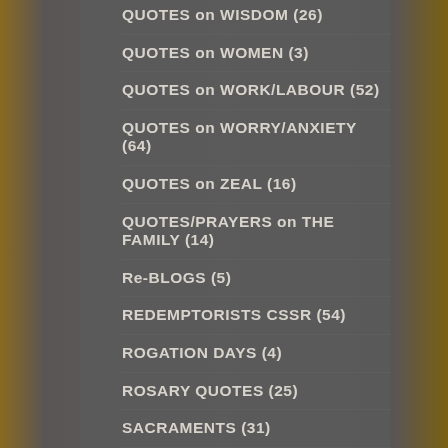QUOTES on WISDOM (26)
QUOTES on WOMEN (3)
QUOTES on WORK/LABOUR (52)
QUOTES on WORRY/ANXIETY (64)
QUOTES on ZEAL (16)
QUOTES/PRAYERS on THE FAMILY (14)
Re-BLOGS (5)
REDEMPTORISTS CSSR (54)
ROGATION DAYS (4)
ROSARY QUOTES (25)
SACRAMENTS (31)
SACRED and IMMACULATE HEARTS (192)
SACRED HEART NOVENA (3)
SACRED HEART PRAYERS (146)